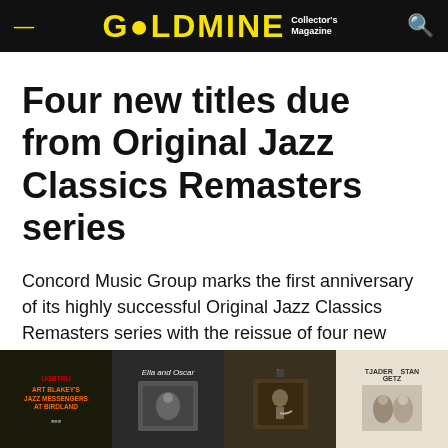GOLDMINE Collector's Magazine
Four new titles due from Original Jazz Classics Remasters series
Concord Music Group marks the first anniversary of its highly successful Original Jazz Classics Remasters series with the reissue of four new titles on March 15, 2011.
Patrick Prince • Jan 31, 2011
[Figure (other): Social media sharing icons: Facebook (f), Twitter bird, Pinterest (P)]
[Figure (photo): Row of four jazz album covers: Art Blakey's Jazz Messengers at Birdland, Ella and Oscar, a trumpet player album, and Tjader/Getz album]